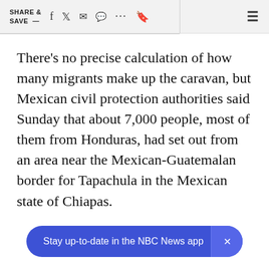SHARE & SAVE —  [facebook] [twitter] [mail] [comment] ... [bookmark]  ≡
There's no precise calculation of how many migrants make up the caravan, but Mexican civil protection authorities said Sunday that about 7,000 people, most of them from Honduras, had set out from an area near the Mexican-Guatemalan border for Tapachula in the Mexican state of Chiapas.
Stay up-to-date in the NBC News app  ×